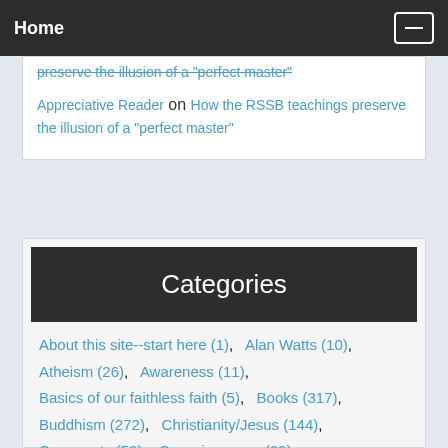Home
preserve the illusion of a "perfect master"
Appreciative Reader on How the RSSB teachings preserve the illusion of a "perfect master"
Categories
About this site--start here (1),  Alan Watts (10),
Atheism (26),  Awareness (11),
Basics of our faithless faith (5),  Books (317),
Buddhism (272),  Christianity/Jesus (144),
Comments (50),  Consciousness (29),
Coronavirus (20),  Death/Rebirth (107),